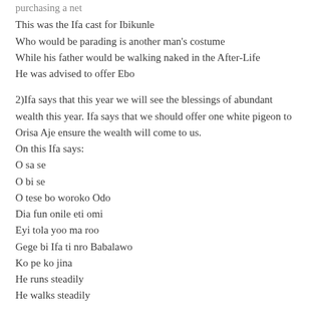purchasing a net
This was the Ifa cast for Ibikunle
Who would be parading is another man's costume
While his father would be walking naked in the After-Life
He was advised to offer Ebo
2)Ifa says that this year we will see the blessings of abundant wealth this year. Ifa says that we should offer one white pigeon to Orisa Aje ensure the wealth will come to us.
On this Ifa says:
O sa se
O bi se
O tese bo woroko Odo
Dia fun onile eti omi
Eyi tola yoo ma roo
Gege bi Ifa ti nro Babalawo
Ko pe ko jina
He runs steadily
He walks steadily